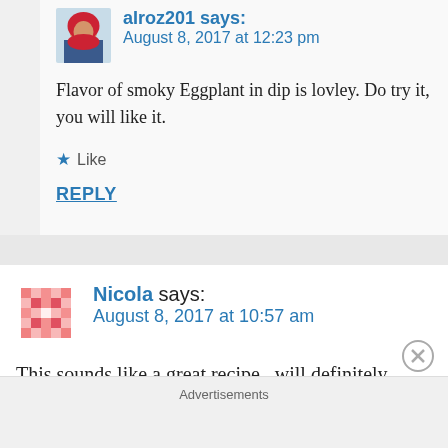[Figure (photo): Avatar photo of a person wearing a red hijab]
aIToz201 says:
August 8, 2017 at 12:23 pm
Flavor of smoky Eggplant in dip is lovley. Do try it, you will like it.
★ Like
REPLY
[Figure (illustration): Pink pixel/mosaic pattern avatar for Nicola]
Nicola says:
August 8, 2017 at 10:57 am
This sounds like a great recipe...will definitely
Advertisements